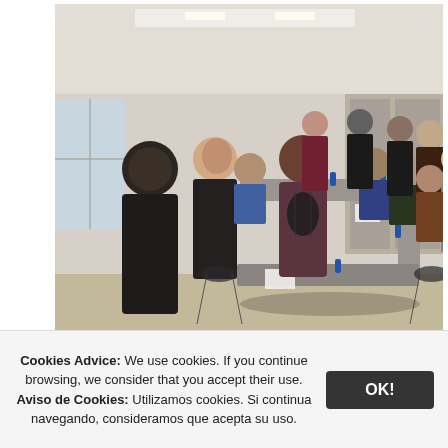[Figure (photo): Group of people in a conference room setting around tables arranged in a U-shape. Two men stand at the left side, one facing the group and one with his back to the camera. Several attendees are seated and standing around the tables with papers and water bottles visible.]
Welcoming words by Joao Fernandes, Deputy Director of the Museo
Cookies Advice: We use cookies. If you continue browsing, we consider that you accept their use. Aviso de Cookies: Utilizamos cookies. Si continua navegando, consideramos que acepta su uso.